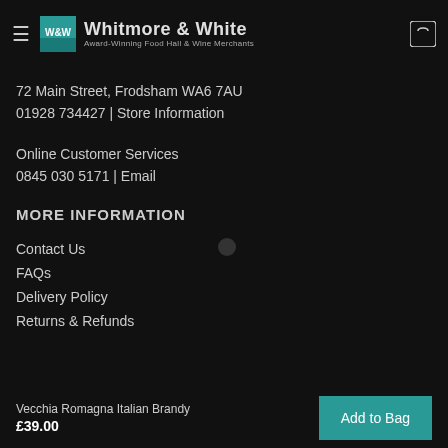Whitmore & White — Award-Winning Food Hall & Wine Merchants
72 Main Street, Frodsham WA6 7AU
01928 734427 | Store Information
Online Customer Services
0845 030 5171 | Email
MORE INFORMATION
Contact Us
FAQs
Delivery Policy
Returns & Refunds
Vecchia Romagna Italian Brandy
£39.00